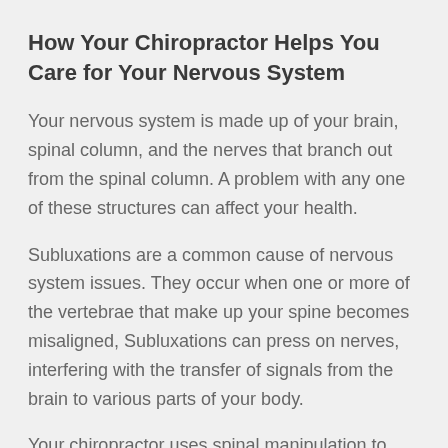How Your Chiropractor Helps You Care for Your Nervous System
Your nervous system is made up of your brain, spinal column, and the nerves that branch out from the spinal column. A problem with any one of these structures can affect your health.
Subluxations are a common cause of nervous system issues. They occur when one or more of the vertebrae that make up your spine becomes misaligned, Subluxations can press on nerves, interfering with the transfer of signals from the brain to various parts of your body.
Your chiropractor uses spinal manipulation to